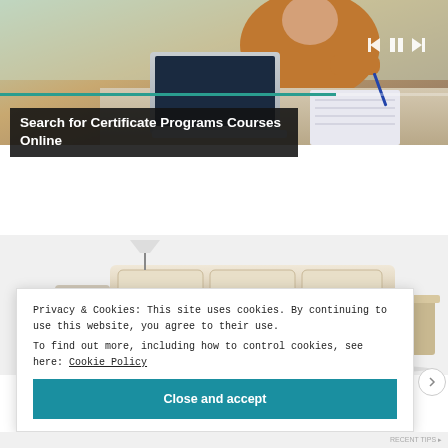[Figure (photo): Person sitting at desk with laptop, writing in notebook — online learning scene. Video player controls (skip back, pause, skip forward) visible top right. Green progress bar at bottom of image.]
Search for Certificate Programs Courses Online
[Figure (photo): Modern sectional sofa/furniture piece with speakers and accessories arranged on a white background — furniture advertisement image.]
Privacy & Cookies: This site uses cookies. By continuing to use this website, you agree to their use.
To find out more, including how to control cookies, see here: Cookie Policy
Close and accept